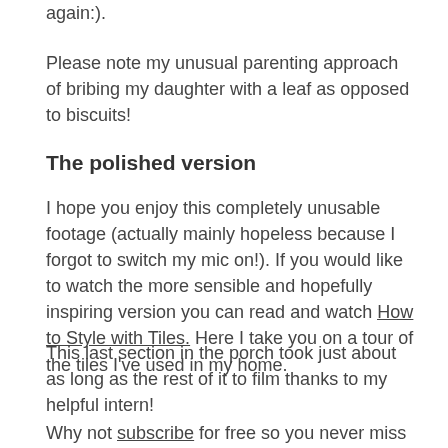again:).
Please note my unusual parenting approach of bribing my daughter with a leaf as opposed to biscuits!
The polished version
I hope you enjoy this completely unusable footage (actually mainly hopeless because I forgot to switch my mic on!). If you would like to watch the more sensible and hopefully inspiring version you can read and watch How to Style with Tiles. Here I take you on a tour of the tiles I've used in my home.
This last section in the porch took just about as long as the rest of it to film thanks to my helpful intern!
Why not subscribe for free so you never miss a post or video?